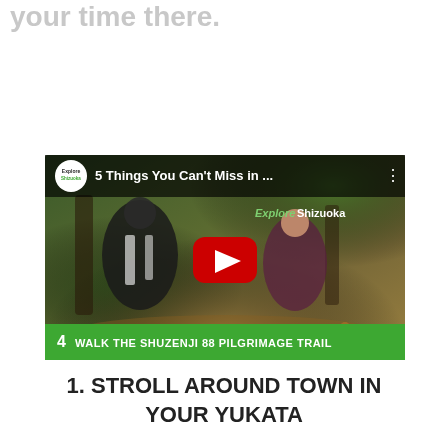your time there.
[Figure (screenshot): YouTube video thumbnail for 'Explore Shizuoka' channel showing '5 Things You Can't Miss in ...' with two people walking a forest trail. Bottom bar shows '4 WALK THE SHUZENJI 88 PILGRIMAGE TRAIL' in green. Play button visible in center.]
1. STROLL AROUND TOWN IN YOUR YUKATA